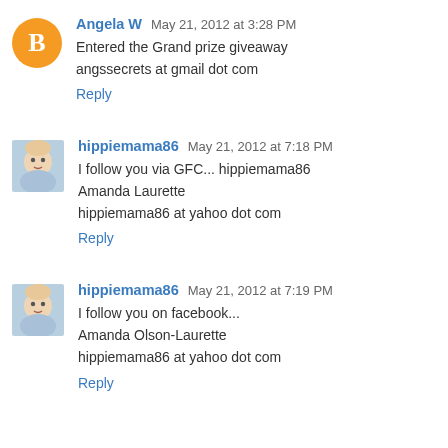Angela W May 21, 2012 at 3:28 PM
Entered the Grand prize giveaway
angssecrets at gmail dot com
Reply
hippiemama86 May 21, 2012 at 7:18 PM
I follow you via GFC... hippiemama86
Amanda Laurette
hippiemama86 at yahoo dot com
Reply
hippiemama86 May 21, 2012 at 7:19 PM
I follow you on facebook...
Amanda Olson-Laurette
hippiemama86 at yahoo dot com
Reply